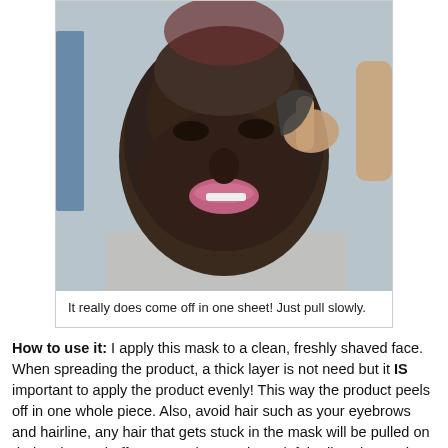[Figure (photo): A man with a dark charcoal/clay peel-off face mask applied to his face, peeling it off with his hand.]
It really does come off in one sheet! Just pull slowly.
How to use it: I apply this mask to a clean, freshly shaved face. When spreading the product, a thick layer is not need but it IS important to apply the product evenly! This way the product peels off in one whole piece. Also, avoid hair such as your eyebrows and hairline, any hair that gets stuck in the mask will be pulled on during the peel-off process, that can be painful! Allow the product to dry on your skin for about 20-30 minutes then peel away! It may feel like pulling off a band-aid at times, but that helps remove all the dead skin cells to reveal a brighter complexion! Any piece of the mask that doesn't peel off can be easily removed with a damp